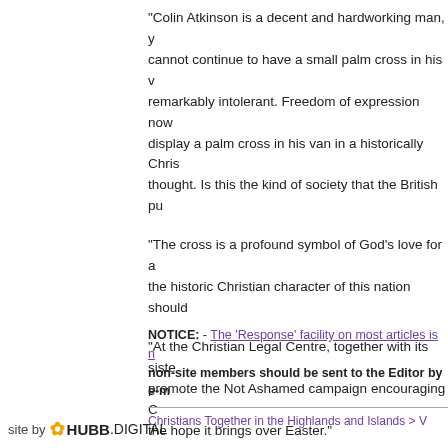"Colin Atkinson is a decent and hardworking man, y cannot continue to have a small palm cross in his v remarkably intolerant. Freedom of expression now display a palm cross in his van in a historically Chri thought. Is this the kind of society that the British pu
"The cross is a profound symbol of God's love for a the historic Christian character of this nation should
"At the Christian Legal Centre, together with its siste promote the Not Ashamed campaign encouraging C the hope it brings over Easter."
[Figure (screenshot): Dark green button/banner reading: BBC Radio West Midlands Interview With Christian]
NOTICE: - The 'Response' facility on most articles is n non-site members should be sent to the Editor by e-m
Christians Together in the Highlands and Islands > V
site by HUBB.DIGITAL